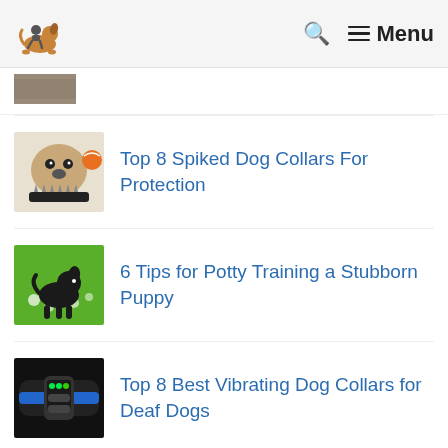My Dog Advisor — Search — Menu
[Figure (photo): Partially visible thumbnail image at top of list, cropped]
Top 8 Spiked Dog Collars For Protection
6 Tips for Potty Training a Stubborn Puppy
Top 8 Best Vibrating Dog Collars for Deaf Dogs
Why Does My Dog Sleep With Me?